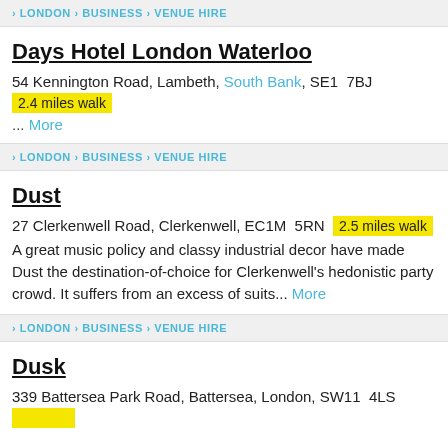LONDON › BUSINESS › VENUE HIRE
Days Hotel London Waterloo
54 Kennington Road, Lambeth, South Bank, SE1 7BJ
2.4 miles walk
... More
LONDON › BUSINESS › VENUE HIRE
Dust
27 Clerkenwell Road, Clerkenwell, EC1M 5RN  2.5 miles walk
A great music policy and classy industrial decor have made Dust the destination-of-choice for Clerkenwell's hedonistic party crowd. It suffers from an excess of suits... More
LONDON › BUSINESS › VENUE HIRE
Dusk
339 Battersea Park Road, Battersea, London, SW11 4LS